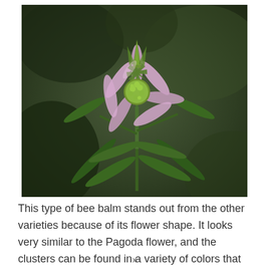[Figure (photo): Close-up macro photograph of a bee balm flower (Monarda) with pale pink/lavender petals arranged in a star shape around a central green cluster of buds, with elongated green leaves. Dark blurred green background suggesting a garden or woodland setting.]
This type of bee balm stands out from the other varieties because of its flower shape. It looks very similar to the Pagoda flower, and the clusters can be found in a variety of colors that include purple,
x